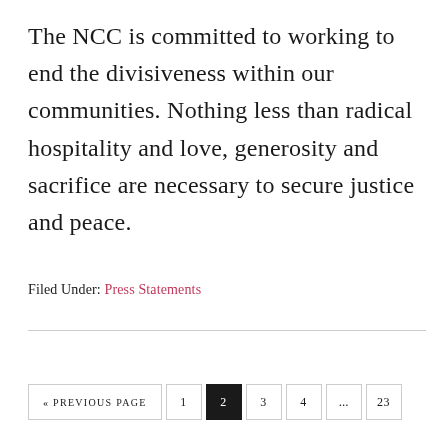The NCC is committed to working to end the divisiveness within our communities. Nothing less than radical hospitality and love, generosity and sacrifice are necessary to secure justice and peace.
Filed Under: Press Statements
« PREVIOUS PAGE  1  2  3  4  ...  23